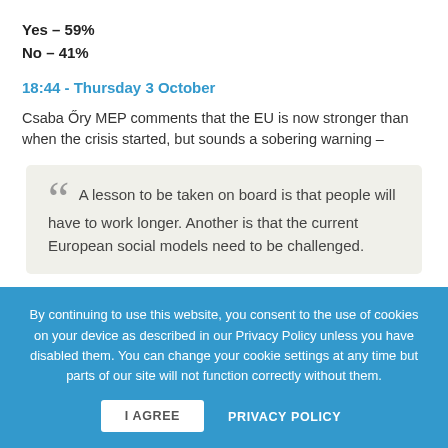Yes – 59%
No – 41%
18:44 - Thursday 3 October
Csaba Őry MEP comments that the EU is now stronger than when the crisis started, but sounds a sobering warning –
A lesson to be taken on board is that people will have to work longer. Another is that the current European social models need to be challenged.
By continuing to use this website, you consent to the use of cookies on your device as described in our Privacy Policy unless you have disabled them. You can change your cookie settings at any time but parts of our site will not function correctly without them.
I AGREE    PRIVACY POLICY